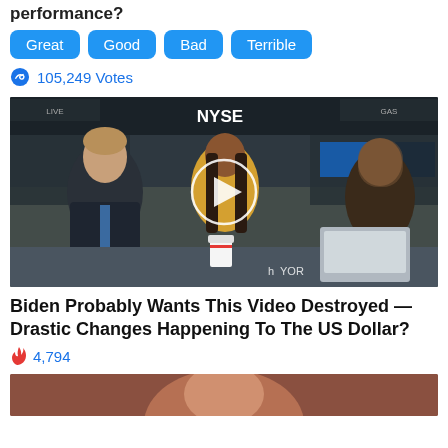performance?
Great
Good
Bad
Terrible
105,249 Votes
[Figure (photo): Video thumbnail showing people at the NYSE trading floor. Three individuals seated at a desk, one man in a dark suit on the left, a woman in yellow in the center, another woman on the right. A play button circle is overlaid in the center. NYSE signage visible in background.]
Biden Probably Wants This Video Destroyed — Drastic Changes Happening To The US Dollar?
4,794
[Figure (photo): Partial view of a person's face at the bottom of the page, cropped.]